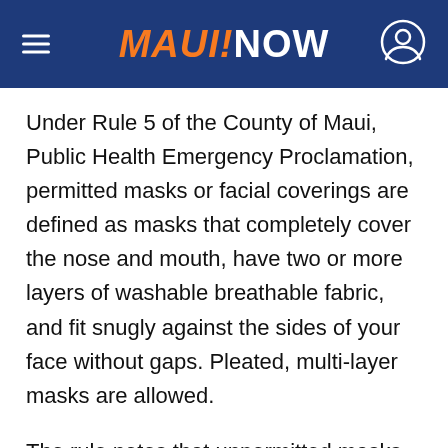MAUI NOW
Under Rule 5 of the County of Maui, Public Health Emergency Proclamation, permitted masks or facial coverings are defined as masks that completely cover the nose and mouth, have two or more layers of washable breathable fabric, and fit snugly against the sides of your face without gaps. Pleated, multi-layer masks are allowed.
The rule notes that unpermitted masks or facial coverings are defined as masks with exposed external valves, neck gaiters, bandanas, and face shields without a permitted mask underneath.
Masks and other facial coverings shall not be